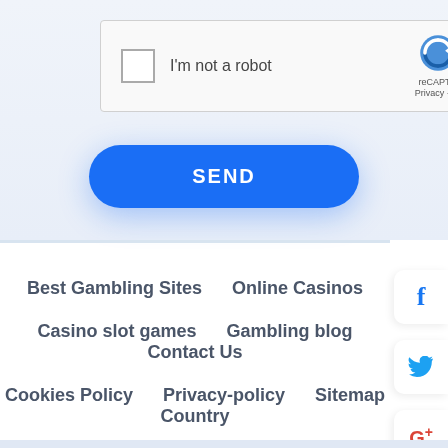[Figure (screenshot): reCAPTCHA widget with checkbox labeled 'I'm not a robot' and reCAPTCHA logo/branding on the right side, partially cropped]
SEND
[Figure (other): Facebook 'f' social media share button icon on white rounded rectangle]
[Figure (other): Twitter bird social media share button icon on white rounded rectangle]
[Figure (other): Google+ G+ social media share button icon on white rounded rectangle]
Best Gambling Sites
Online Casinos
Casino slot games
Gambling blog
Contact Us
Cookies Policy
Privacy-policy
Sitemap
Country